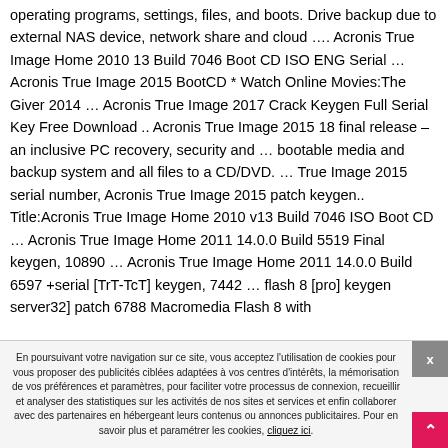operating programs, settings, files, and boots. Drive backup due to external NAS device, network share and cloud …. Acronis True Image Home 2010 13 Build 7046 Boot CD ISO ENG Serial … Acronis True Image 2015 BootCD * Watch Online Movies:The Giver 2014 … Acronis True Image 2017 Crack Keygen Full Serial Key Free Download .. Acronis True Image 2015 18 final release – an inclusive PC recovery, security and … bootable media and backup system and all files to a CD/DVD. … True Image 2015 serial number, Acronis True Image 2015 patch keygen.. Title:Acronis True Image Home 2010 v13 Build 7046 ISO Boot CD … Acronis True Image Home 2011 14.0.0 Build 5519 Final keygen, 10890 … Acronis True Image Home 2011 14.0.0 Build 6597 +serial [TrT-TcT] keygen, 7442 … flash 8 [pro] keygen server32] patch 6788 Macromedia Flash 8 with
En poursuivant votre navigation sur ce site, vous acceptez l'utilisation de cookies pour vous proposer des publicités ciblées adaptées à vos centres d'intérêts, la mémorisation de vos préférences et paramètres, pour faciliter votre processus de connexion, recueillir et analyser des statistiques sur les activités de nos sites et services et enfin collaborer avec des partenaires en hébergeant leurs contenus ou annonces publicitaires. Pour en savoir plus et paramétrer les cookies, cliquez ici.